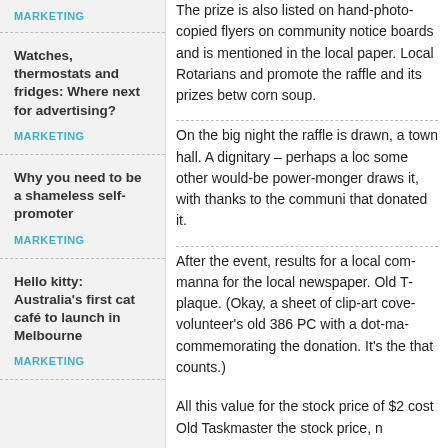MARKETING
Watches, thermostats and fridges: Where next for advertising?
MARKETING
Why you need to be a shameless self-promoter
MARKETING
Hello kitty: Australia's first cat café to launch in Melbourne
MARKETING
The prize is also listed on hand-photocopied flyers on community notice boards and is mentioned in the local paper. Local Rotarians and others promote the raffle and its prizes between mouthfuls of corn soup.
On the big night the raffle is drawn, at the local town hall. A dignitary – perhaps a local councillor or some other would-be power-monger – draws it, with thanks to the community and the business that donated it.
After the event, results for a local community event are manna for the local newspaper. Old Taskmaster provides a plaque. (Okay, a sheet of clip-art covered A4, printed on a volunteer's old 386 PC with a dot-matrix printer) commemorating the donation. It's the thought that counts.)
All this value for the stock price of $2... wait, it didn't cost Old Taskmaster the stock price, nothing.
Seems Old Man McGhee is missing a trick or two. (Of course, there's also the feel-good factor of an underfunded local hospital finally get